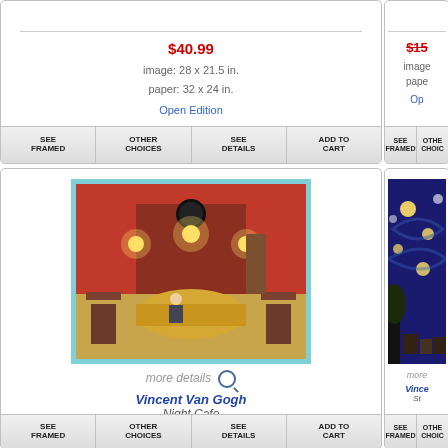$40.99
image: 28 x 21.5 in.
paper: 32 x 24 in.
Open Edition
SEE FRAMED | OTHER CHOICES | SEE DETAILS | ADD TO CART
[Figure (photo): Vincent Van Gogh - Night Cafe painting showing red interior of a cafe at night with billiard table, chairs, and hanging lights]
more details 🔍
Vincent Van Gogh
Night Cafe
$12.99
image: 30 x 24 in.
paper: 30 x 24 in.
Open Edition
SEE | OTHER | SEE | ADD TO